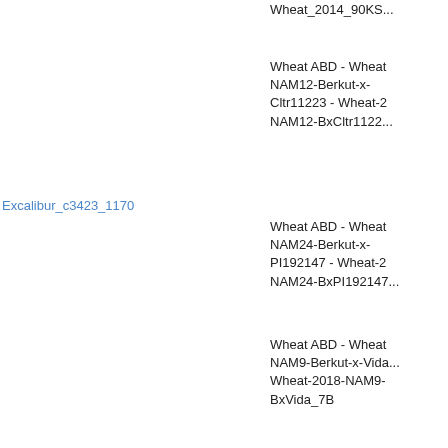| Marker | Type | Score | Trait |
| --- | --- | --- | --- |
|  |  |  | Wheat_2014_90KS... |
| Excalibur_c3423_1170 | locus | 1.4 | Wheat ABD - Wheat NAM12-Berkut-x-Cltr11223 - Wheat-2... NAM12-BxCltr11223... |
|  |  |  | Wheat ABD - Wheat NAM24-Berkut-x-PI192147 - Wheat-2... NAM24-BxPI192147... |
|  |  |  | Wheat ABD - Wheat NAM9-Berkut-x-Vida... Wheat-2018-NAM9-BxVida_7B |
|  |  |  | Wheat ABD - Wheat NAM8-Berkut-x-PBW... Wheat-2018-NAM8-BxPBW343_7B |
|  |  |  | Wheat ABD - Wheat NAM7-Berkut-x-PI56... - Wheat-2018-NAM7-BxPI565213_7B |
|  |  |  | Wheat ABD - Wheat NAM5-Berkut-x-PI38... - Wheat-2018-NAM5-BxPI382150_7B |
|  |  |  | Wheat ABD - Wheat... |